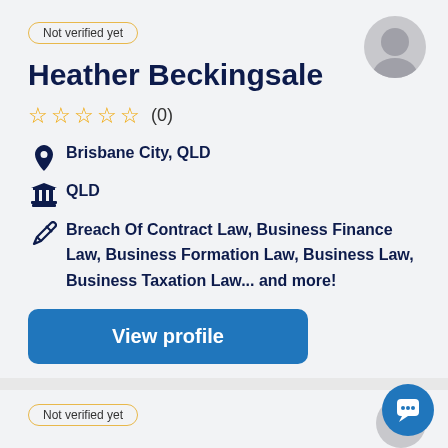Not verified yet
Heather Beckingsale
☆☆☆☆☆ (0)
Brisbane City, QLD
QLD
Breach Of Contract Law, Business Finance Law, Business Formation Law, Business Law, Business Taxation Law... and more!
View profile
Not verified yet